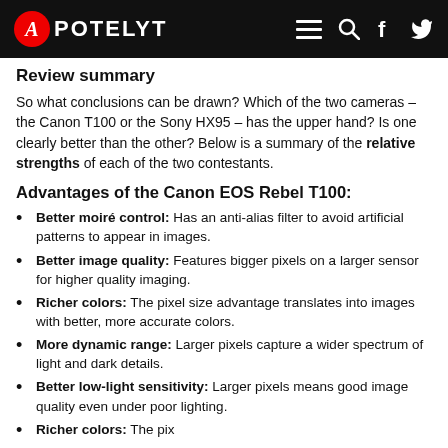APOTELYT
Review summary
So what conclusions can be drawn? Which of the two cameras – the Canon T100 or the Sony HX95 – has the upper hand? Is one clearly better than the other? Below is a summary of the relative strengths of each of the two contestants.
Advantages of the Canon EOS Rebel T100:
Better moiré control: Has an anti-alias filter to avoid artificial patterns to appear in images.
Better image quality: Features bigger pixels on a larger sensor for higher quality imaging.
Richer colors: The pixel size advantage translates into images with better, more accurate colors.
More dynamic range: Larger pixels capture a wider spectrum of light and dark details.
Better low-light sensitivity: Larger pixels means good image quality even under poor lighting.